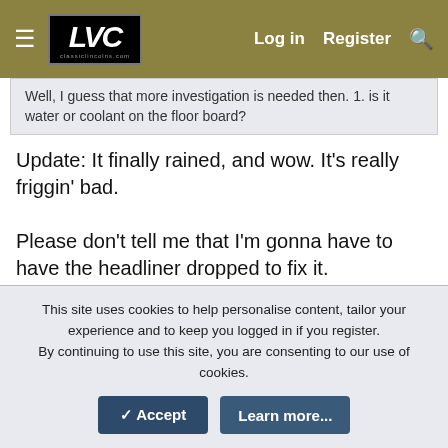LVC | Log in | Register
Well, I guess that more investigation is needed then. 1. Is it water or coolant on the floor board?
Update: It finally rained, and wow. It's really friggin' bad.

Please don't tell me that I'm gonna have to have the headliner dropped to fix it.
May 1, 2022  #6,361
joegr
Dedicated LVC Member
Joined: Dec 10, 2005
Messages: 21,128
Reaction score: 2,089
Location: Gulfport
This site uses cookies to help personalise content, tailor your experience and to keep you logged in if you register.
By continuing to use this site, you are consenting to our use of cookies.